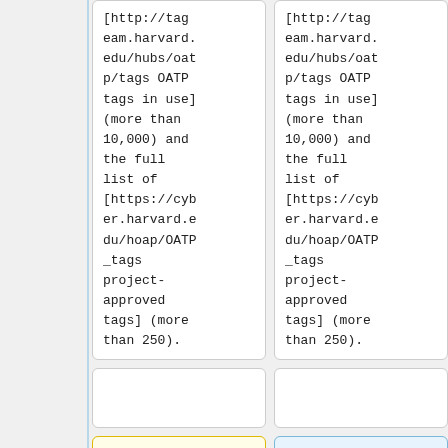[http://tag eam.harvard. edu/hubs/oat p/tags OATP tags in use] (more than 10,000) and the full list of [https://cyb er.harvard.e du/hoap/OATP _tags project-approved tags] (more than 250).
[http://tag eam.harvard. edu/hubs/oat p/tags OATP tags in use] (more than 10,000) and the full list of [https://cyb er.harvard.e du/hoap/OATP _tags project-approved tags] (more than 250).
* Items in a given tag library are
* Items in a given tag library are